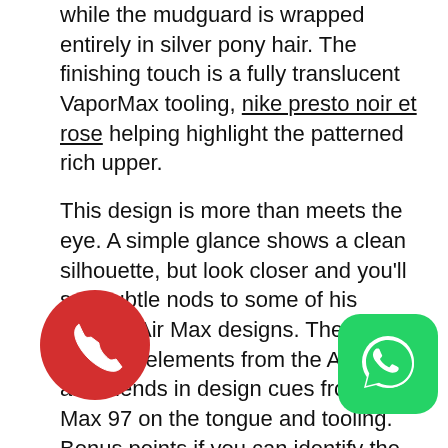while the mudguard is wrapped entirely in silver pony hair. The finishing touch is a fully translucent VaporMax tooling, nike presto noir et rose helping highlight the patterned rich upper.
This design is more than meets the eye. A simple glance shows a clean silhouette, but look closer and you'll see subtle nods to some of his favorite Air Max designs. The upper features elements from the Air Max 90 and blends in design cues from the Air Max 97 on the tongue and tooling. Bonus points if you can identify the cryptic numbers printed on the airbag.
KYLE NG
Multimedia Artist and ...Max 1 Ultra Flyknit through and through, the sh features a neutral color pallet and a hand painted, DIY
[Figure (other): Red circular phone/call icon overlay in the bottom-left area]
[Figure (other): Green rounded-square WhatsApp icon overlay in the bottom-right area]